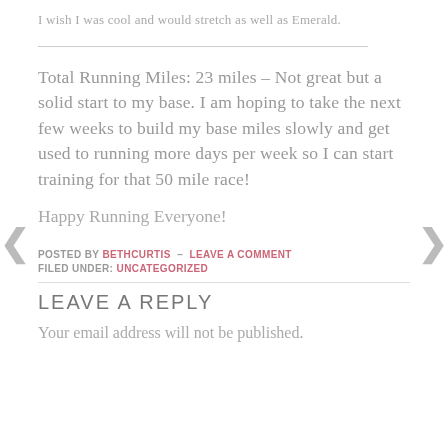I wish I was cool and would stretch as well as Emerald.
Total Running Miles: 23 miles – Not great but a solid start to my base. I am hoping to take the next few weeks to build my base miles slowly and get used to running more days per week so I can start training for that 50 mile race!
Happy Running Everyone!
POSTED BY BETHCURTIS — LEAVE A COMMENT
FILED UNDER: UNCATEGORIZED
LEAVE A REPLY
Your email address will not be published.